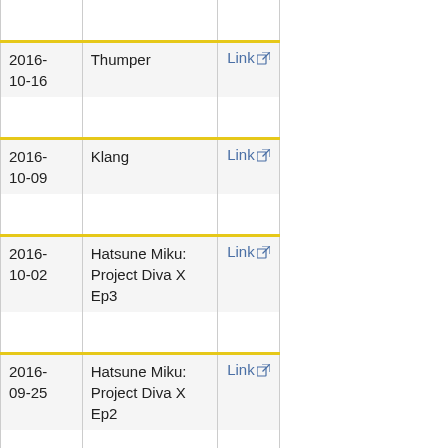| Date | Name | Link |
| --- | --- | --- |
| 2016-10-16 | Thumper | Link |
| 2016-10-09 | Klang | Link |
| 2016-10-02 | Hatsune Miku: Project Diva X Ep3 | Link |
| 2016-09-25 | Hatsune Miku: Project Diva X Ep2 | Link |
| 2016-09-11 | Hatsune Miku: Project Diva X Ep1 | Link |
| 2016-08-28 | Tadpole Treble | Link |
| 2016-... |  |  |